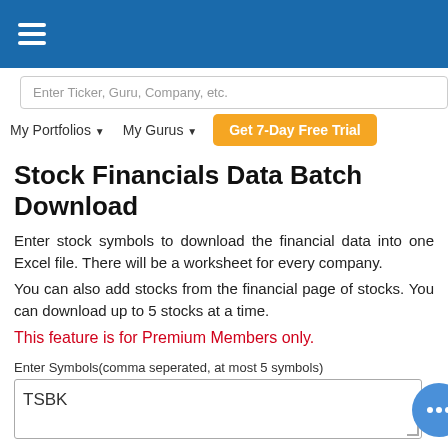[Figure (other): Blue navigation header bar with white hamburger menu icon (three horizontal lines)]
Enter Ticker, Guru, Company, etc.
My Portfolios ▼   My Gurus ▼   Get 7-Day Free Trial
Stock Financials Data Batch Download
Enter stock symbols to download the financial data into one Excel file. There will be a worksheet for every company.
You can also add stocks from the financial page of stocks. You can download up to 5 stocks at a time.
This feature is for Premium Members only.
Enter Symbols(comma seperated, at most 5 symbols)
TSBK